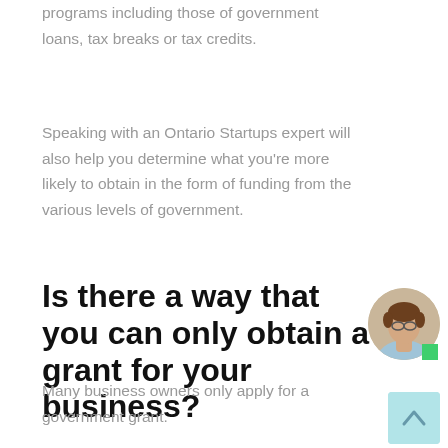programs including those of government loans, tax breaks or tax credits.
Speaking with an Ontario Startups expert will also help you determine what you’re more likely to obtain in the form of funding from the various levels of government.
Is there a way that you can only obtain a grant for your business?
Many business owners only apply for a government grant.
[Figure (photo): Circular avatar photo of a man with brown hair and glasses wearing a light blue shirt, with a green online indicator dot in the bottom right of the circle.]
[Figure (other): Light teal/cyan scroll-to-top button with an upward chevron arrow icon.]